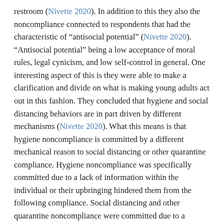restroom (Nivette 2020). In addition to this they also the noncompliance connected to respondents that had the characteristic of “antisocial potential” (Nivette 2020). “Antisocial potential” being a low acceptance of moral rules, legal cynicism, and low self-control in general. One interesting aspect of this is they were able to make a clarification and divide on what is making young adults act out in this fashion. They concluded that hygiene and social distancing behaviors are in part driven by different mechanisms (Nivette 2020). What this means is that hygiene noncompliance is committed by a different mechanical reason to social distancing or other quarantine compliance. Hygiene noncompliance was specifically committed due to a lack of information within the individual or their upbringing hindered them from the following compliance. Social distancing and other quarantine noncompliance were committed due to a rebellious/ anti-authoritative mentality where the individual did not want to be told to stay inside.